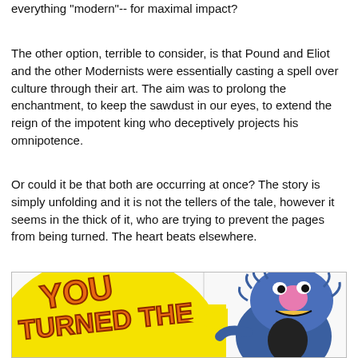everything "modern"-- for maximal impact?
The other option, terrible to consider, is that Pound and Eliot and the other Modernists were essentially casting a spell over culture through their art. The aim was to prolong the enchantment, to keep the sawdust in our eyes, to extend the reign of the impotent king who deceptively projects his omnipotence.
Or could it be that both are occurring at once? The story is simply unfolding and it is not the tellers of the tale, however it seems in the thick of it, who are trying to prevent the pages from being turned. The heart beats elsewhere.
[Figure (illustration): Comic book style illustration showing the words 'YOU TURNED THE [PAGE]!' in bold orange letters on a yellow background, alongside a blue furry monster character (resembling Grover from Sesame Street) with a pink nose.]